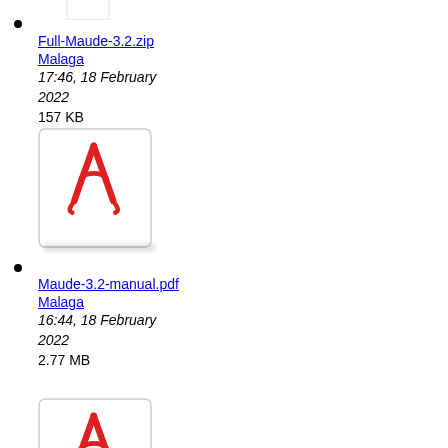[Figure (illustration): PDF file icon (Adobe Acrobat red logo) partially visible at top]
Full-Maude-3.2.zip
Malaga
17:46, 18 February 2022
157 KB
[Figure (illustration): PDF file icon (Adobe Acrobat red logo) in white rounded rectangle box]
Maude-3.2-manual.pdf
Malaga
16:44, 18 February 2022
2.77 MB
[Figure (illustration): PDF file icon (Adobe Acrobat red logo) partially visible at bottom]